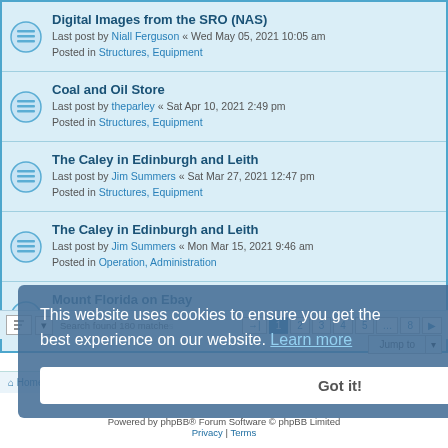Digital Images from the SRO (NAS) — Last post by Niall Ferguson « Wed May 05, 2021 10:05 am — Posted in Structures, Equipment
Coal and Oil Store — Last post by theparley « Sat Apr 10, 2021 2:49 pm — Posted in Structures, Equipment
The Caley in Edinburgh and Leith — Last post by Jim Summers « Sat Mar 27, 2021 12:47 pm — Posted in Structures, Equipment
The Caley in Edinburgh and Leith — Last post by Jim Summers « Mon Mar 15, 2021 9:46 am — Posted in Operation, Administration
Mount Florida on Ebay — Last post by Jim Summers « Mon Mar 15, 2021 8:32 am — Posted in Structures, Equipment
Search found 180 matches
This website uses cookies to ensure you get the best experience on our website. Learn more
Home · Board index · Contact us · Delete cookies · All times are UTC
Powered by phpBB® Forum Software © phpBB Limited | Privacy | Terms